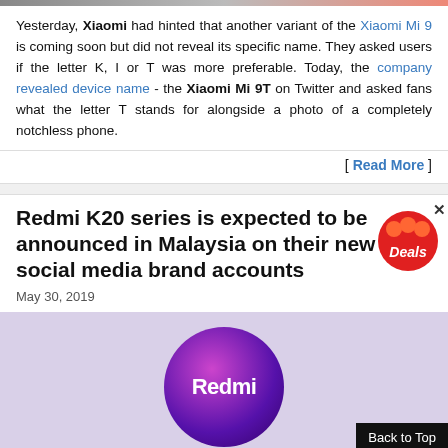Yesterday, Xiaomi had hinted that another variant of the Xiaomi Mi 9 is coming soon but did not reveal its specific name. They asked users if the letter K, I or T was more preferable. Today, the company revealed device name - the Xiaomi Mi 9T on Twitter and asked fans what the letter T stands for alongside a photo of a completely notchless phone.
[ Read More ]
Redmi K20 series is expected to be announced in Malaysia on their new social media brand accounts
May 30, 2019
[Figure (logo): Redmi logo on purple circular background with light purple/lavender page background]